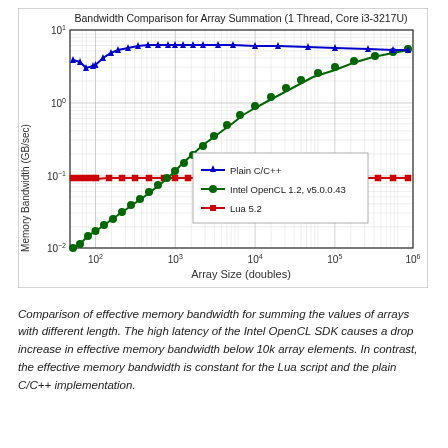[Figure (continuous-plot): Log-log line chart comparing memory bandwidth (GB/sec) vs array size (doubles) for three implementations: Plain C/C++ (blue triangles, ~4-6 GB/sec flat), Intel OpenCL 1.2 v5.0.0.43 (green circles, rising from ~0.01 to ~4 GB/sec), and Lua 5.2 (red squares, ~0.09 GB/sec flat). X-axis ranges from ~50 to 10^6, Y-axis from 10^-2 to 10^1.]
Comparison of effective memory bandwidth for summing the values of arrays with different length. The high latency of the Intel OpenCL SDK causes a drop increase in effective memory bandwidth below 10k array elements. In contrast, the effective memory bandwidth is constant for the Lua script and the plain C/C++ implementation.